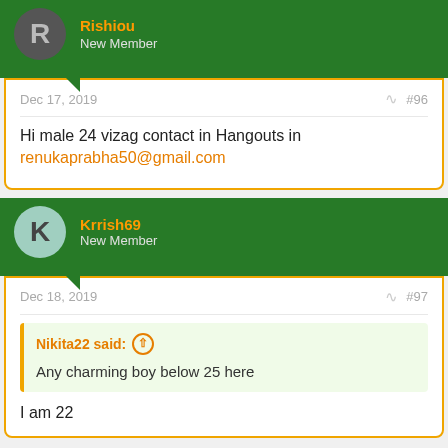Rishiou — New Member
Dec 17, 2019   #96
Hi male 24 vizag contact in Hangouts in renukaprabha50@gmail.com
Krrish69 — New Member
Dec 18, 2019   #97
Nikita22 said: Any charming boy below 25 here
I am 22